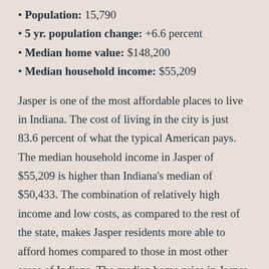Population: 15,790
5 yr. population change: +6.6 percent
Median home value: $148,200
Median household income: $55,209
Jasper is one of the most affordable places to live in Indiana. The cost of living in the city is just 83.6 percent of what the typical American pays. The median household income in Jasper of $55,209 is higher than Indiana’s median of $50,433. The combination of relatively high income and low costs, as compared to the rest of the state, makes Jasper residents more able to afford homes compared to those in most other areas of Indiana. The median home price in Jasper is $148,200,